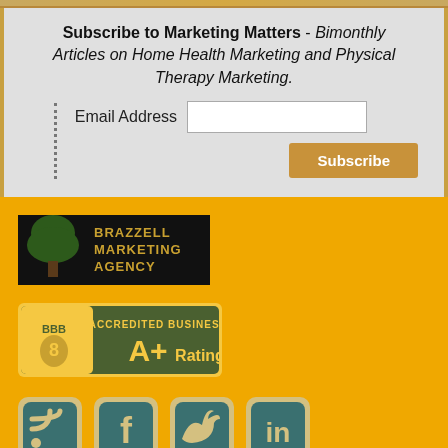Subscribe to Marketing Matters - Bimonthly Articles on Home Health Marketing and Physical Therapy Marketing.
Email Address [input field] [Subscribe button]
[Figure (logo): Brazzell Marketing Agency logo - dark background with tree and gold text]
[Figure (logo): BBB Accredited Business A+ Rating badge - dark green and gold]
[Figure (infographic): Social media icons: RSS feed, Facebook, Twitter, LinkedIn - teal icons on tan rounded square backgrounds]